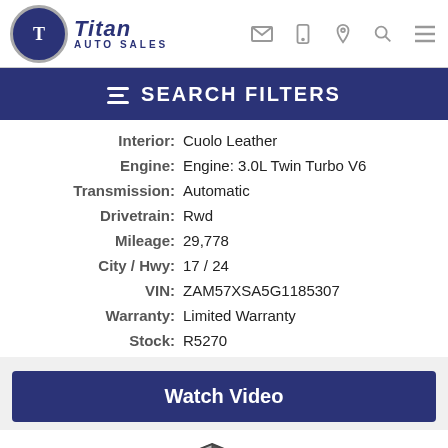[Figure (logo): Titan Auto Sales logo with blue circular emblem and italic text]
SEARCH FILTERS
| Label | Value |
| --- | --- |
| Interior: | Cuolo Leather |
| Engine: | Engine: 3.0L Twin Turbo V6 |
| Transmission: | Automatic |
| Drivetrain: | Rwd |
| Mileage: | 29,778 |
| City / Hwy: | 17 / 24 |
| VIN: | ZAM57XSA5G1185307 |
| Warranty: | Limited Warranty |
| Stock: | R5270 |
Watch Video
[Figure (logo): Dealer Certified badge with shield icon]
Photos (60)